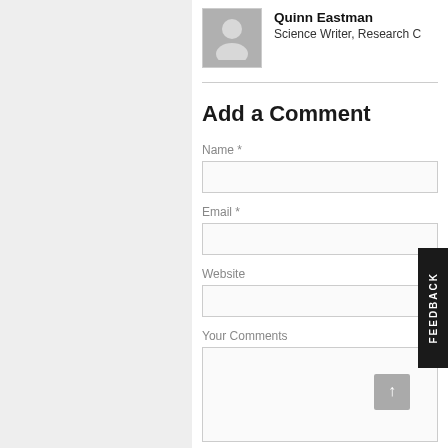[Figure (photo): Author avatar placeholder icon (gray silhouette of person on gray background)]
Quinn Eastman
Science Writer, Research C
Add a Comment
Name *
Email *
Website
Your Comments